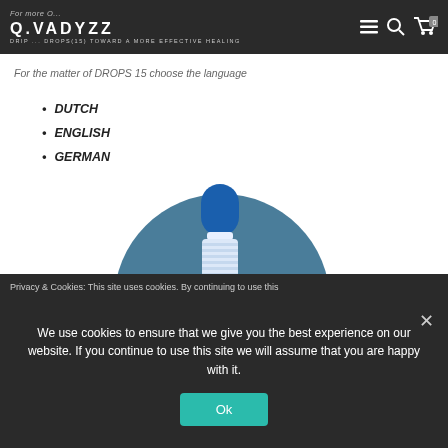Q.VADYZZ — DRIP ... DROPS(15) TOWARD A MORE EFFECTIVE HEALING
For the matter of DROPS 15 choose the language
DUTCH
ENGLISH
GERMAN
[Figure (photo): A blue dropper bottle top on a teal/steel-blue circular background]
Privacy & Cookies: This site uses cookies. By continuing to use this
We use cookies to ensure that we give you the best experience on our website. If you continue to use this site we will assume that you are happy with it.